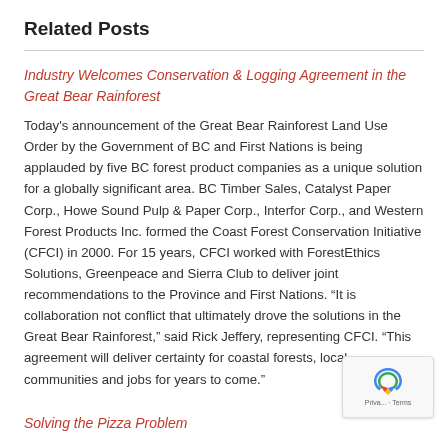Related Posts
Industry Welcomes Conservation & Logging Agreement in the Great Bear Rainforest
Today's announcement of the Great Bear Rainforest Land Use Order by the Government of BC and First Nations is being applauded by five BC forest product companies as a unique solution for a globally significant area. BC Timber Sales, Catalyst Paper Corp., Howe Sound Pulp & Paper Corp., Interfor Corp., and Western Forest Products Inc. formed the Coast Forest Conservation Initiative (CFCI) in 2000. For 15 years, CFCI worked with ForestEthics Solutions, Greenpeace and Sierra Club to deliver joint recommendations to the Province and First Nations. “It is collaboration not conflict that ultimately drove the solutions in the Great Bear Rainforest,” said Rick Jeffery, representing CFCI. “This agreement will deliver certainty for coastal forests, local communities and jobs for years to come.”
Solving the Pizza Problem